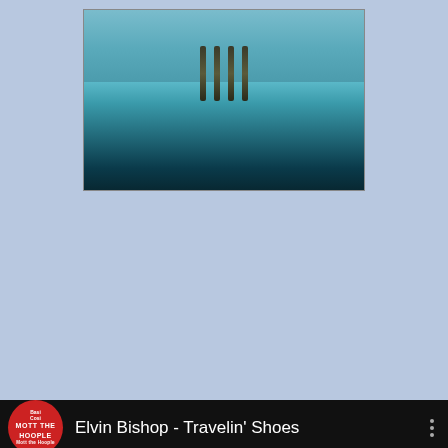[Figure (photo): Album cover photo for Elvin Bishop 'Let It Flow' showing a lake/water scene with pier posts and reflections, partially visible at top of page]
[Figure (screenshot): YouTube video player showing 'Elvin Bishop - Travelin' Shoes' with channel logo (Mott the Hoople themed red circle), video title text, three-dot menu, and thumbnail of the Elvin Bishop 'Let It Flow' album cover with a YouTube play button overlay]